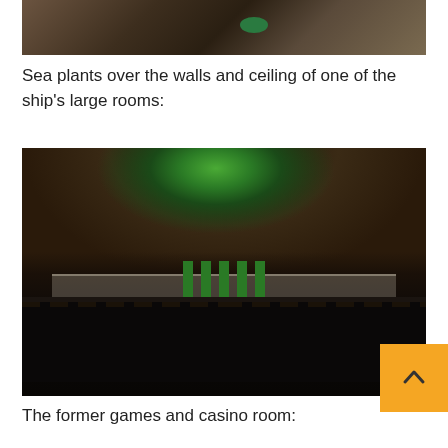[Figure (photo): Top portion of a photo showing the interior of an abandoned ship room with aged flooring, a green bowl/basin visible, and dark weathered surfaces]
Sea plants over the walls and ceiling of one of the ship's large rooms:
[Figure (photo): Interior of an abandoned ship's large room showing dramatic overgrowth of sea plants covering the ceiling and walls, green illuminated ceiling, ornate dark iron railings in the foreground, green decorative columns in the middle distance, and a curved balcony structure]
The former games and casino room: